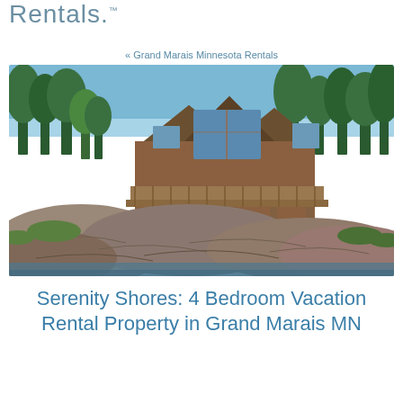Rentals.™
« Grand Marais Minnesota Rentals
[Figure (photo): Aerial view of a large multi-gabled brown cabin/house with large glass windows and a wide deck, surrounded by dense evergreen and deciduous trees, situated on rocky Lake Superior shoreline under a blue sky.]
Serenity Shores: 4 Bedroom Vacation Rental Property in Grand Marais MN